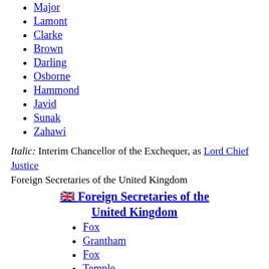Major
Lamont
Clarke
Brown
Darling
Osborne
Hammond
Javid
Sunak
Zahawi
Italic: Interim Chancellor of the Exchequer, as Lord Chief Justice
Foreign Secretaries of the United Kingdom
🇬🇧 Foreign Secretaries of the United Kingdom
Fox
Grantham
Fox
Temple
Leeds
Grenville
Hawkesbury
Harrowby
Mulgrave